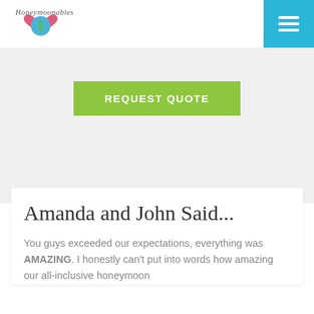[Figure (logo): Honeymoonables website logo - heart shape with script text]
[Figure (other): Hamburger menu button - blue square with three white horizontal lines]
[Figure (other): REQUEST QUOTE green button on gray background section]
Amanda and John Said...
You guys exceeded our expectations, everything was AMAZING. I honestly can't put into words how amazing our all-inclusive honeymoon